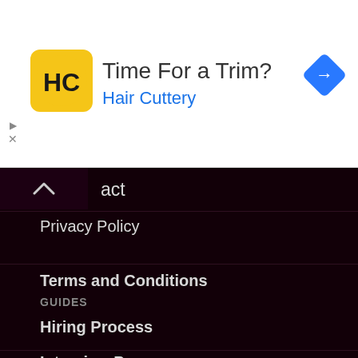[Figure (infographic): Hair Cuttery advertisement banner with yellow logo, 'Time For a Trim?' heading, 'Hair Cuttery' subtitle in blue, and blue navigation diamond icon on the right]
act
Privacy Policy
Terms and Conditions
GUIDES
Hiring Process
Interview Prep